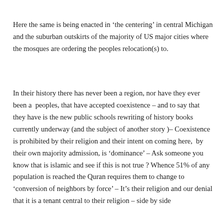Here the same is being enacted in ‘the centering’ in central Michigan and the suburban outskirts of the majority of US major cities where the mosques are ordering the peoples relocation(s) to.
In their history there has never been a region, nor have they ever been a  peoples, that have accepted coexistence – and to say that they have is the new public schools rewriting of history books currently underway (and the subject of another story )– Coexistence is prohibited by their religion and their intent on coming here,  by their own majority admission, is ‘dominance’ – Ask someone you know that is islamic and see if this is not true ? Whence 51% of any population is reached the Quran requires them to change to ‘conversion of neighbors by force’ – It’s their religion and our denial that it is a tenant central to their religion – side by side